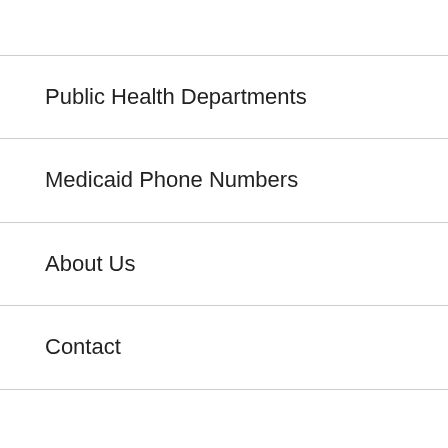Public Health Departments
Medicaid Phone Numbers
About Us
Contact